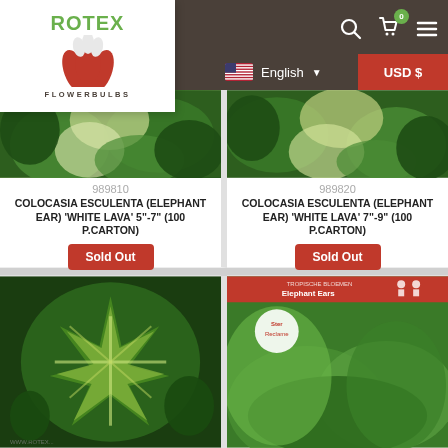[Figure (screenshot): Rotex Flowerbulbs website header with logo, navigation icons (search, cart with badge '0', menu), language selector (English with US flag), and USD currency selector]
[Figure (photo): Colocasia Esculenta (Elephant Ear) plant photo showing large green leaves with white/cream highlights]
989810
COLOCASIA ESCULENTA (ELEPHANT EAR) 'WHITE LAVA' 5"-7" (100 P.CARTON)
Sold Out
100
[Figure (photo): Colocasia Esculenta (Elephant Ear) plant photo showing large green leaves with white/cream highlights]
989820
COLOCASIA ESCULENTA (ELEPHANT EAR) 'WHITE LAVA' 7"-9" (100 P.CARTON)
Sold Out
100
[Figure (photo): Colocasia Esculenta plant with dramatic star-shaped green leaves with white veins]
[Figure (photo): Colocasia Esculenta Elephant Ear product with red packaging label showing 'Elephant Ears' text and large green leaves background]